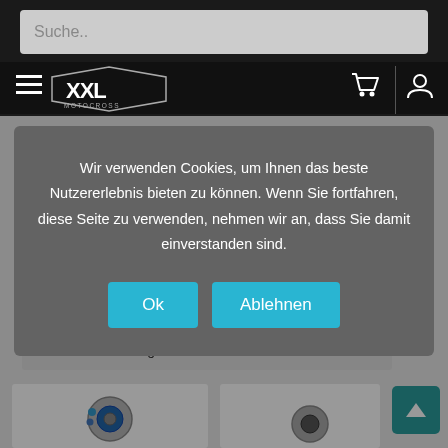Suche..
[Figure (logo): XXL Motocross logo in triangular shield shape, white on dark background]
Wir verwenden Cookies, um Ihnen das beste Nutzererlebnis bieten zu können. Wenn Sie fortfahren, diese Seite zu verwenden, nehmen wir an, dass Sie damit einverstanden sind.
Ok
Ablehnen
Standardsortierung